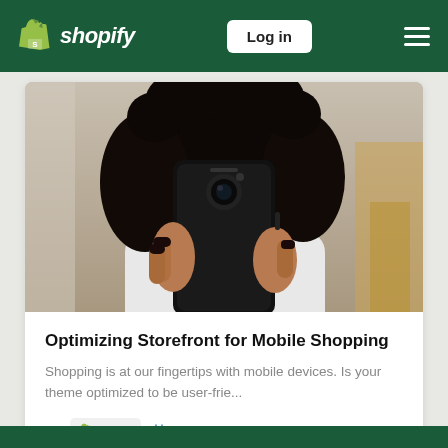shopify — Log in
[Figure (photo): A woman with curly hair holding a black smartphone up to her face, viewed from the front]
Optimizing Storefront for Mobile Shopping
Shopping is at our fingertips with mobile devices. Is your theme optimized to be user-frie...
By Holly  Jun 24, 2022